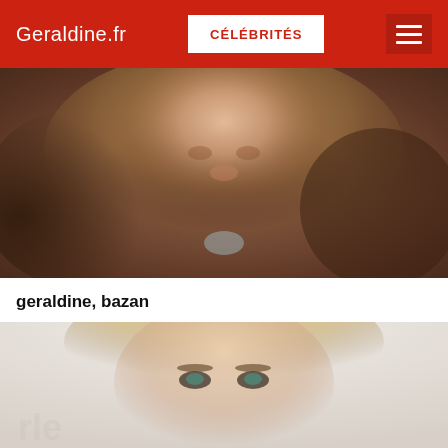Geraldine.fr | CÉLÉBRITÉS
[Figure (photo): Close-up photo of a blonde woman with long wavy hair, wearing a fur-trimmed jacket and crystal necklace]
geraldine, bazan
[Figure (photo): Photo of a young blonde woman with smoky eye makeup against a white background, with partial text/logo visible at bottom left]